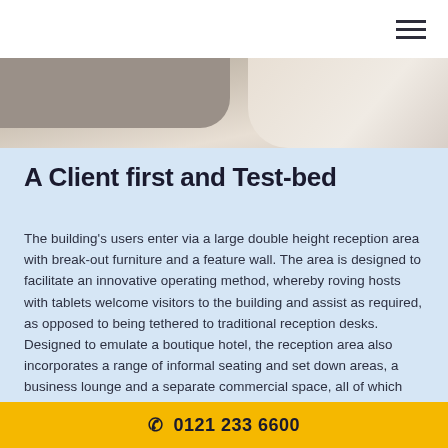[Figure (photo): Navigation bar with hamburger menu icon at top right, and a partial photo strip showing a beige/taupe interior space below]
A Client first and Test-bed
The building's users enter via a large double height reception area with break-out furniture and a feature wall. The area is designed to facilitate an innovative operating method, whereby roving hosts with tablets welcome visitors to the building and assist as required, as opposed to being tethered to traditional reception desks. Designed to emulate a boutique hotel, the reception area also incorporates a range of informal seating and set down areas, a business lounge and a separate commercial space, all of which will animate the ground floor. Also on the ground floor
0121 233 6600